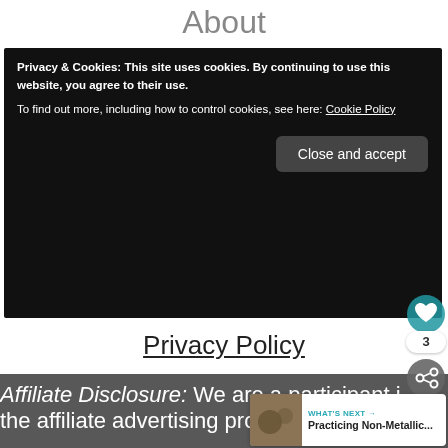About
Privacy & Cookies: This site uses cookies. By continuing to use this website, you agree to their use.
To find out more, including how to control cookies, see here: Cookie Policy
Close and accept
Privacy Policy
Affiliate Disclosure: We are a participant in the affiliate advertising programs for Amazon Services LLC Associates, KEH Camera, Etsy, Fun.com, and Blick Art Materials. programs are designed to provide a means